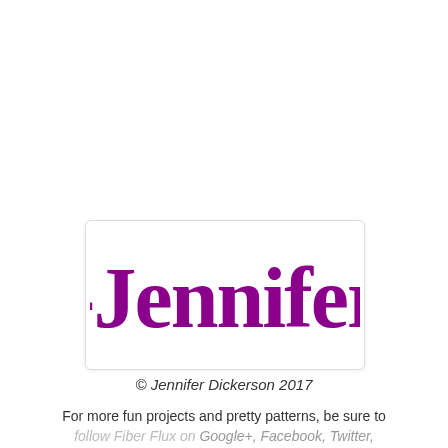[Figure (logo): A script/calligraphy logo reading '-Jennifer' in purple/magenta on a white card with light border shadow]
© Jennifer Dickerson 2017
For more fun projects and pretty patterns, be sure to follow Fiber Flux on Google+, Facebook, Twitter, and Pinterest for the latest updates!